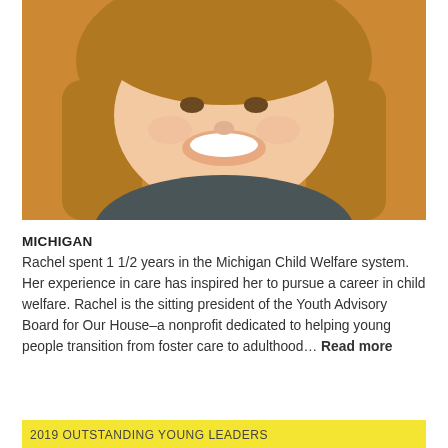[Figure (photo): Headshot of a smiling young woman with long brown hair, wearing a dark grey top, against an orange background.]
MICHIGAN
Rachel spent 1 1/2 years in the Michigan Child Welfare system. Her experience in care has inspired her to pursue a career in child welfare. Rachel is the sitting president of the Youth Advisory Board for Our House–a nonprofit dedicated to helping young people transition from foster care to adulthood… Read more
2019 OUTSTANDING YOUNG LEADERS